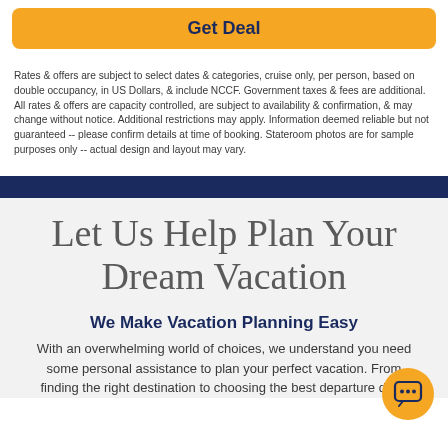Get Deal
Rates & offers are subject to select dates & categories, cruise only, per person, based on double occupancy, in US Dollars, & include NCCF. Government taxes & fees are additional. All rates & offers are capacity controlled, are subject to availability & confirmation, & may change without notice. Additional restrictions may apply. Information deemed reliable but not guaranteed -- please confirm details at time of booking. Stateroom photos are for sample purposes only -- actual design and layout may vary.
Let Us Help Plan Your Dream Vacation
We Make Vacation Planning Easy
With an overwhelming world of choices, we understand you need some personal assistance to plan your perfect vacation. From finding the right destination to choosing the best departure date,